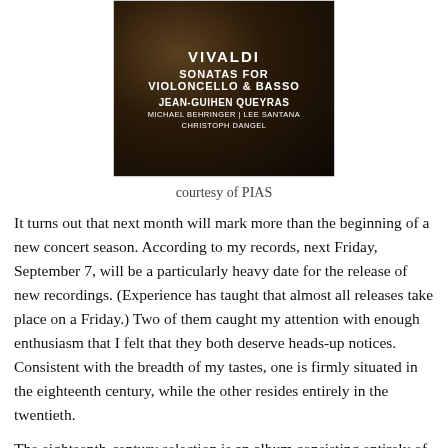[Figure (photo): Album cover for Vivaldi Sonatas for Violoncello & Basso featuring Jean-Guihen Queyras, Michael Behringer, Lee Santana, Christoph Dangel. Dark sepia toned image with white text overlay.]
courtesy of PIAS
It turns out that next month will mark more than the beginning of a new concert season. According to my records, next Friday, September 7, will be a particularly heavy date for the release of new recordings. (Experience has taught that almost all releases take place on a Friday.) Two of them caught my attention with enough enthusiasm that I felt that they both deserve heads-up notices. Consistent with the breadth of my tastes, one is firmly situated in the eighteenth century, while the other resides entirely in the twentieth.
The eighteenth-century selection is an album consisting entirely of compositions by Antonio Vivaldi involving a genre not usually associated with that popular composer. In 1740